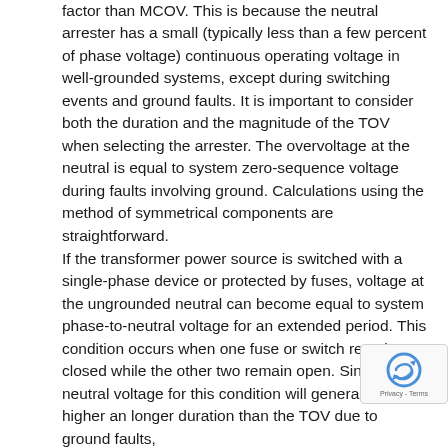factor than MCOV. This is because the neutral arrester has a small (typically less than a few percent of phase voltage) continuous operating voltage in well-grounded systems, except during switching events and ground faults. It is important to consider both the duration and the magnitude of the TOV when selecting the arrester. The overvoltage at the neutral is equal to system zero-sequence voltage during faults involving ground. Calculations using the method of symmetrical components are straightforward.
If the transformer power source is switched with a single-phase device or protected by fuses, voltage at the ungrounded neutral can become equal to system phase-to-neutral voltage for an extended period. This condition occurs when one fuse or switch remains closed while the other two remain open. Since the neutral voltage for this condition will generally be higher and longer duration than the TOV due to ground faults, should be taken to ensure that...